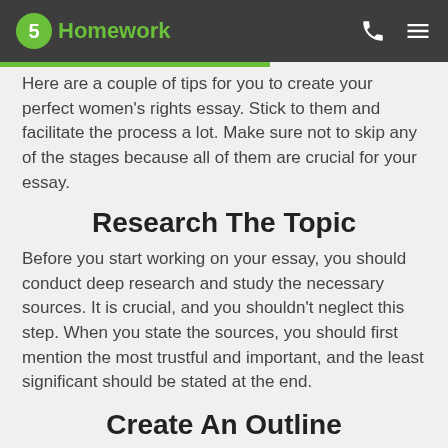5Homework
Here are a couple of tips for you to create your perfect women's rights essay. Stick to them and facilitate the process a lot. Make sure not to skip any of the stages because all of them are crucial for your essay.
Research The Topic
Before you start working on your essay, you should conduct deep research and study the necessary sources. It is crucial, and you shouldn't neglect this step. When you state the sources, you should first mention the most trustful and important, and the least significant should be stated at the end.
Create An Outline
If you believe you can write a one-page women's rights